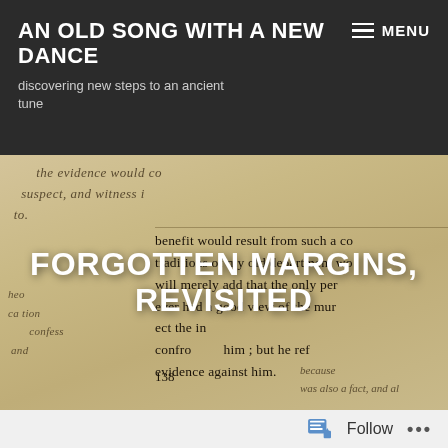AN OLD SONG WITH A NEW DANCE
discovering new steps to an ancient tune
MENU
[Figure (photo): Aged document page showing printed text and handwritten cursive margin notes. Printed text reads: 'benefit would result from such a c[o]... traditions of my old department wo[uld]... will merely add that the only per[son]... ever had a good view of the mur[derer]... [susp]ect the in[ference]... confro[nted] him; but he ref[used]... evidence against him. 138'. Handwritten annotations visible in margins and overlaid cursive text at top.]
FORGOTTEN MARGINS, REVISITED
Follow ...